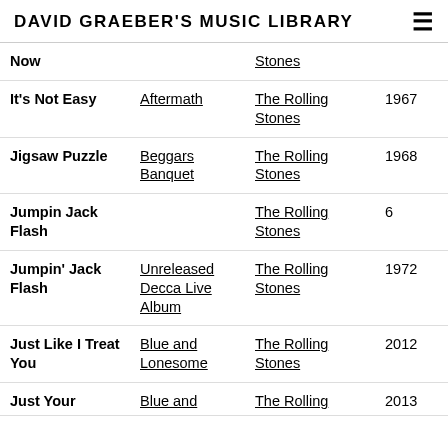DAVID GRAEBER'S MUSIC LIBRARY
| Song | Album | Artist | Year |
| --- | --- | --- | --- |
| Now |  | Stones |  |
| It's Not Easy | Aftermath | The Rolling Stones | 196? |
| Jigsaw Puzzle | Beggars Banquet | The Rolling Stones | 1968 |
| Jumpin Jack Flash |  | The Rolling Stones | 6 |
| Jumpin' Jack Flash | Unreleased Decca Live Album | The Rolling Stones | 197? |
| Just Like I Treat You | Blue and Lonesome | The Rolling Stones | 2012 |
| Just Your | Blue and | The Rolling | 2013 |